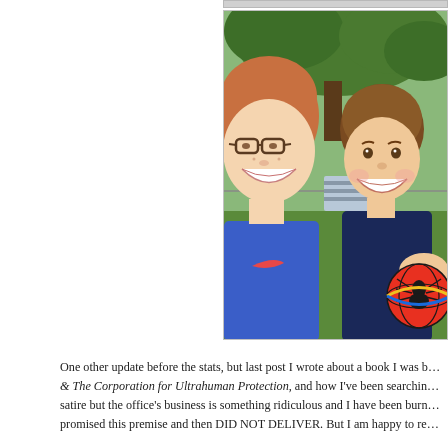[Figure (photo): A woman with glasses wearing a blue Nike shirt and a young toddler boy in a navy shirt holding a Spider-Man ball, both smiling outdoors in a park setting with green trees and grass.]
One other update before the stats, but last post I wrote about a book I was b... & The Corporation for Ultrahuman Protection, and how I've been searchin... satire but the office's business is something ridiculous and I have been burn... promised this premise and then DID NOT DELIVER. But I am happy to re...